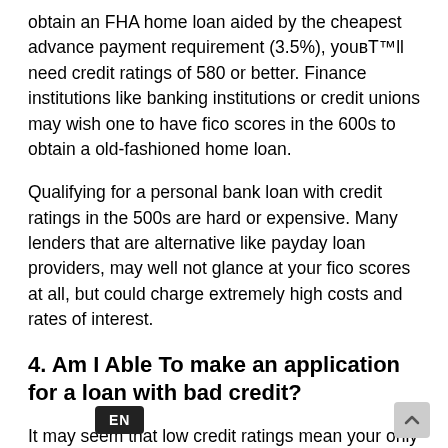obtain an FHA home loan aided by the cheapest advance payment requirement (3.5%), you'll need credit ratings of 580 or better. Finance institutions like banking institutions or credit unions may wish one to have fico scores in the 600s to obtain a old-fashioned home loan.
Qualifying for a personal bank loan with credit ratings in the 500s are hard or expensive. Many lenders that are alternative like payday loan providers, may well not glance at your fico scores at all, but could charge extremely high costs and rates of interest.
4. Am I Able To make an application for a loan with bad credit?
It may seem that low credit ratings mean your only choice is to utilize an alternative solution kind of loan, like payday or a car or truck name loans. These short-term loans typically don't need a credit check, which will make them appear appealing in